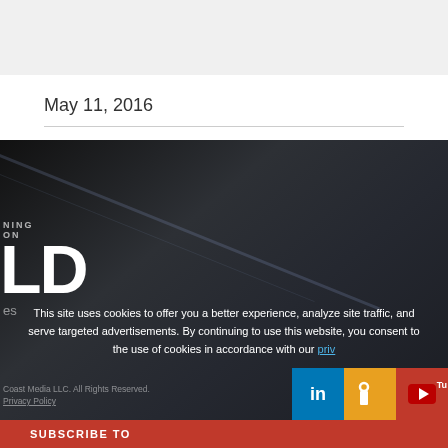[Figure (screenshot): Top gray banner/header area of a website]
May 11, 2016
[Figure (photo): Dark background section showing partial website with large white letters 'LD', partial logo text reading 'NING' and 'ON', cookie consent notice, social media icons (LinkedIn, RSS, YouTube), and Subscribe To bar at bottom]
This site uses cookies to offer you a better experience, analyze site traffic, and serve targeted advertisements. By continuing to use this website, you consent to the use of cookies in accordance with our privacy
Coast Media LLC. All Rights Reserved.
Privacy Policy